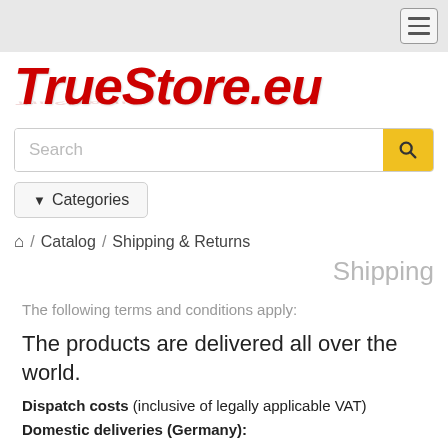[Figure (logo): TrueStore.eu logo in red bold italic text with reflection]
Search
Categories
Home / Catalog / Shipping & Returns
Shipping
The following terms and conditions apply:
The products are delivered all over the world.
Dispatch costs (inclusive of legally applicable VAT)
Domestic deliveries (Germany):